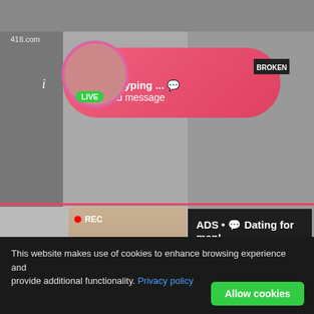[Figure (screenshot): Adult website screenshot with mosaic background of explicit content thumbnails]
418.com
BROKEN
ADS
Angel is typing ... 💬
(1) unread message
LIVE
i
REC
ADS • 💬 Dating for men!
Find bad girls here 💬
i
TUSH
HardXHD
This website makes use of cookies to enhance browsing experience and provide additional functionality. Privacy policy
Allow cookies